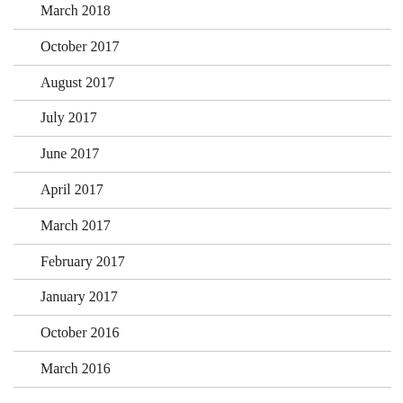March 2018
October 2017
August 2017
July 2017
June 2017
April 2017
March 2017
February 2017
January 2017
October 2016
March 2016